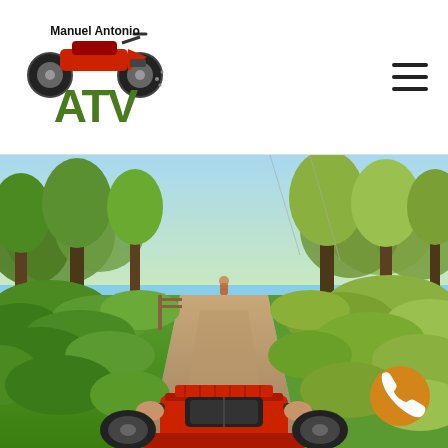[Figure (logo): Manuel Antonio ATV logo with red ATV vehicle on top and large green ATV text below, black text 'Manuel Antonio' in the middle]
[Figure (photo): First-person perspective photo riding a red ATV quad bike down a narrow dirt trail through lush green tropical forest with trees overhead and bright sky visible]
[Figure (other): Orange circular call/phone button in the bottom right corner]